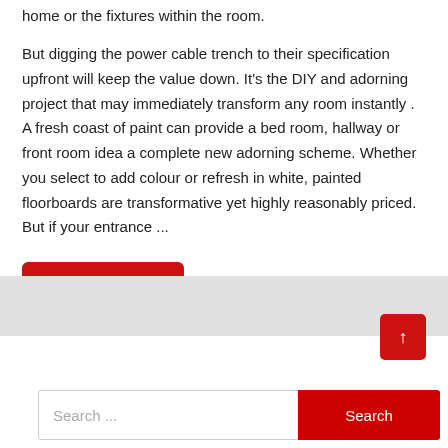home or the fixtures within the room.
But digging the power cable trench to their specification upfront will keep the value down. It's the DIY and adorning project that may immediately transform any room instantly . A fresh coast of paint can provide a bed room, hallway or front room idea a complete new adorning scheme. Whether you select to add colour or refresh in white, painted floorboards are transformative yet highly reasonably priced. But if your entrance ...
Read More
↑
Search ...
Search